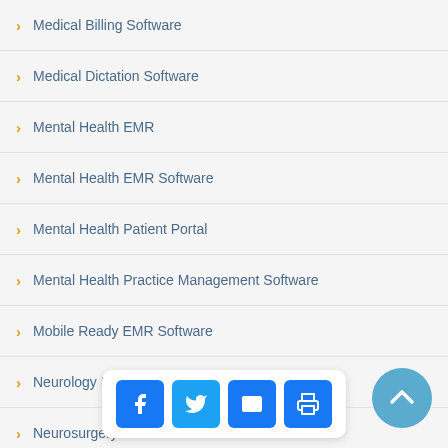Medical Billing Software
Medical Dictation Software
Mental Health EMR
Mental Health EMR Software
Mental Health Patient Portal
Mental Health Practice Management Software
Mobile Ready EMR Software
Neurology EMR
Neurosurgery EMR Software
News
No Surprises Act
OB-GYN EMR
OBL